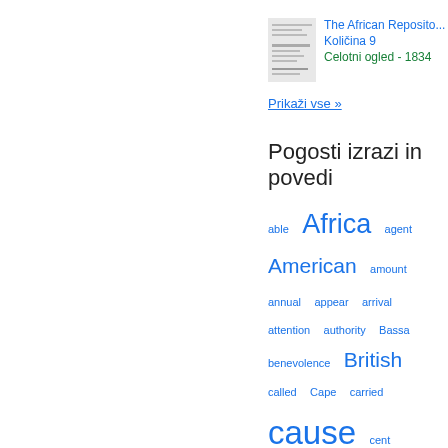[Figure (illustration): Thumbnail image of a book cover for The African Repository, Volume 9]
The African Repository
Količina 9
Celotni ogled - 1834
Prikaži vse »
Pogosti izrazi in povedi
able  Africa  agent  American  amount  annual  appear  arrival  attention  authority  Bassa  benevolence  British  called  Cape  carried  cause  cent  character  Christian  church